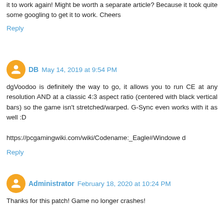it to work again! Might be worth a separate article? Because it took quite some googling to get it to work. Cheers
Reply
DB May 14, 2019 at 9:54 PM
dgVoodoo is definitely the way to go, it allows you to run CE at any resolution AND at a classic 4:3 aspect ratio (centered with black vertical bars) so the game isn't stretched/warped. G-Sync even works with it as well :D

https://pcgamingwiki.com/wiki/Codename:_Eagle#Windowed
Reply
Administrator February 18, 2020 at 10:24 PM
Thanks for this patch! Game no longer crashes!